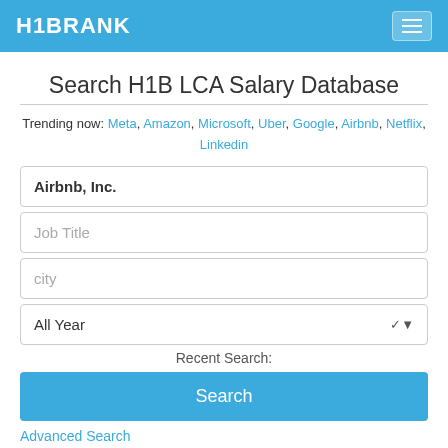H1BRANK
Search H1B LCA Salary Database
Trending now: Meta, Amazon, Microsoft, Uber, Google, Airbnb, Netflix, Linkedin
Airbnb, Inc.
Job Title
city
All Year
Recent Search:
Search
Advanced Search